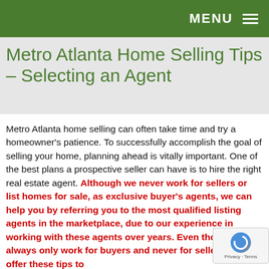MENU ☰
Metro Atlanta Home Selling Tips – Selecting an Agent
Metro Atlanta home selling can often take time and try a homeowner's patience. To successfully accomplish the goal of selling your home, planning ahead is vitally important. One of the best plans a prospective seller can have is to hire the right real estate agent. Although we never work for sellers or list homes for sale, as exclusive buyer's agents, we can help you by referring you to the most qualified listing agents in the marketplace, due to our experience in working with these agents over years. Even though we always only work for buyers and never for sellers, we offer these tips to